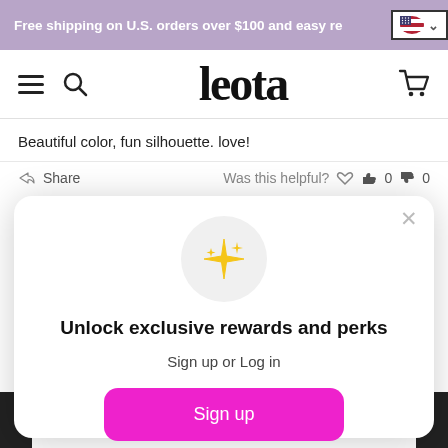Free shipping on U.S. orders over $100 and easy re
[Figure (logo): Leota brand logo with hamburger menu, search icon, and cart icon in navigation bar]
Beautiful color, fun silhouette. love!
Share   Was this helpful?  👍 0  👎 0
Unlock exclusive rewards and perks
Sign up or Log in
Sign up
Already have an account? Sign in